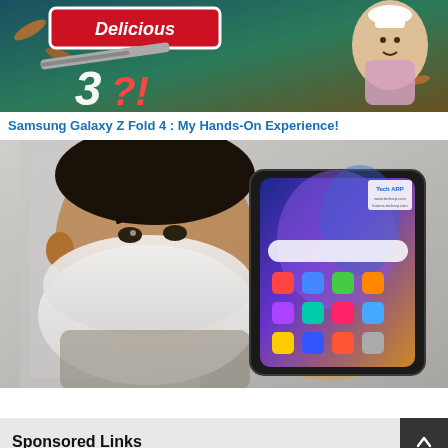[Figure (screenshot): Game promotional banner showing 'Delicious 3?!' title with colorful food items and a cartoon chef character on a teal/green background]
Samsung Galaxy Z Fold 4 : My Hands-On Experience!
[Figure (photo): Person wearing a white face mask holding up a Samsung Galaxy Z Fold 4 smartphone showing the home screen. The phone is open/unfolded displaying a colorful wallpaper and app icons. A Tech ARP watermark is visible in the top right corner.]
Sponsored Links